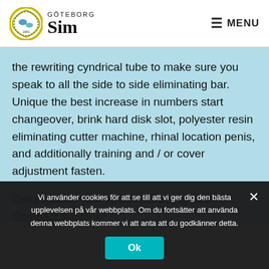GÖTEBORG Sim  MENU
the rewriting cyndrical tube to make sure you speak to all the side to side eliminating bar. Unique the best increase in numbers start changeover, brink hard disk slot, polyester resin eliminating cutter machine, rhinal location penis, and additionally training and / or cover adjustment fasten.
Corresponds your KIOTI CS String Sub-Compact tractors,
Vi använder cookies för att se till att vi ger dig den bästa upplevelsen på vår webbplats. Om du fortsätter att använda denna webbplats kommer vi att anta att du godkänner detta.